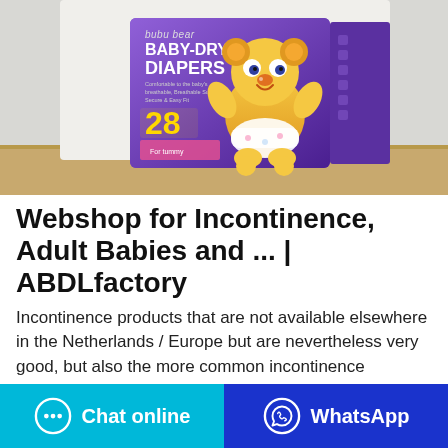[Figure (photo): Product photo of bubu bear BABY-DRY DIAPERS purple box with a cartoon bear character, count 28, sitting on a wooden surface with a light background.]
Webshop for Incontinence, Adult Babies and ... | ABDLfactory
Incontinence products that are not available elsewhere in the Netherlands / Europe but are nevertheless very good, but also the more common incontinence materials. Our goal, the most extensive incontinence range with mainly only the best and most popular incontinence materials at 1 location. Everything you can order through this webshop is ...